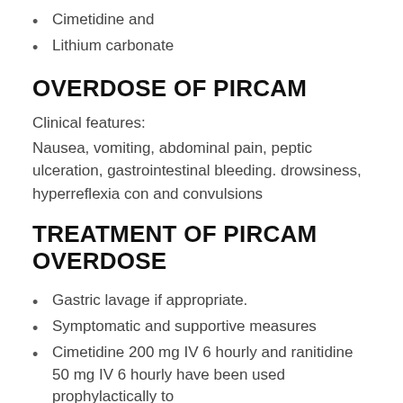Cimetidine and
Lithium carbonate
OVERDOSE OF PIRCAM
Clinical features:
Nausea, vomiting, abdominal pain, peptic ulceration, gastrointestinal bleeding. drowsiness, hyperreflexia con and convulsions
TREATMENT OF PIRCAM OVERDOSE
Gastric lavage if appropriate.
Symptomatic and supportive measures
Cimetidine 200 mg IV 6 hourly and ranitidine 50 mg IV 6 hourly have been used prophylactically to